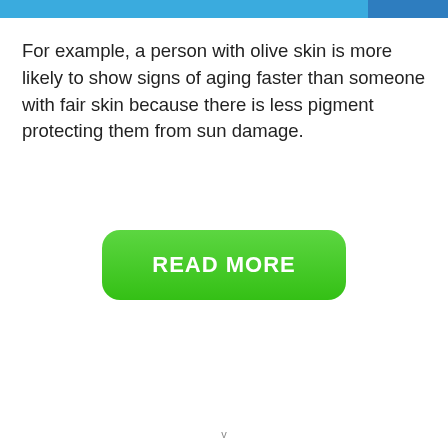For example, a person with olive skin is more likely to show signs of aging faster than someone with fair skin because there is less pigment protecting them from sun damage.
[Figure (other): Green rounded rectangle button with white bold text reading 'READ MORE']
v